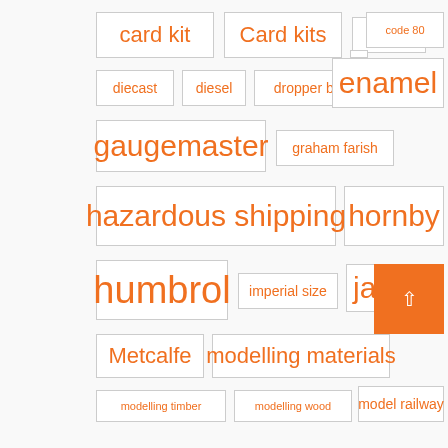card kit
Card kits
coach
code 80
diecast
diesel
dropper bottle
enamel
gaugemaster
graham farish
hazardous shipping
hornby
humbrol
imperial size
javis
lner
Metcalfe
modelling materials
modelling timber
modelling wood
model railway
multi scale
n gauge
oo gauge
Oxford diecast
paint
peco